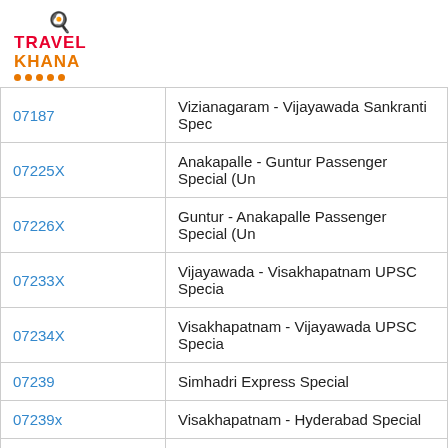[Figure (logo): TravelKhana logo with chef hat icon, red TRAVEL text, orange KHANA text, orange dots and underline]
| Train Number | Train Name |
| --- | --- |
| 07187 | Vizianagaram - Vijayawada Sankranti Spec |
| 07225X | Anakapalle - Guntur Passenger Special (Un |
| 07226X | Guntur - Anakapalle Passenger Special (Un |
| 07233X | Vijayawada - Visakhapatnam UPSC Specia |
| 07234X | Visakhapatnam - Vijayawada UPSC Specia |
| 07239 | Simhadri Express Special |
| 07239x | Visakhapatnam - Hyderabad Special |
| 07239XX | Visakapatnam - Guntur Special |
| 07240 | Simhadri Express Special |
| 07240x | Hyderabad - Visakhapatnam Special |